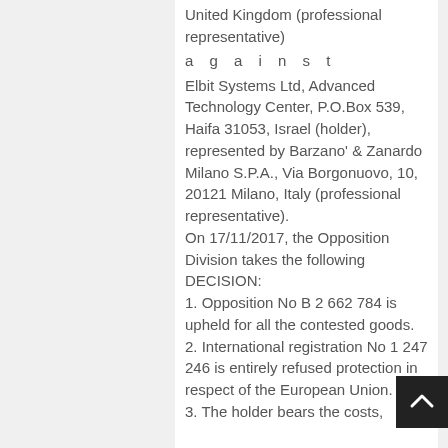United Kingdom (professional representative)
a g a i n s t
Elbit Systems Ltd, Advanced Technology Center, P.O.Box 539, Haifa 31053, Israel (holder), represented by Barzano' & Zanardo Milano S.P.A., Via Borgonuovo, 10, 20121 Milano, Italy (professional representative). On 17/11/2017, the Opposition Division takes the following DECISION: 1. Opposition No B 2 662 784 is upheld for all the contested goods. 2. International registration No 1 247 246 is entirely refused protection in respect of the European Union. 3. The holder bears the costs,